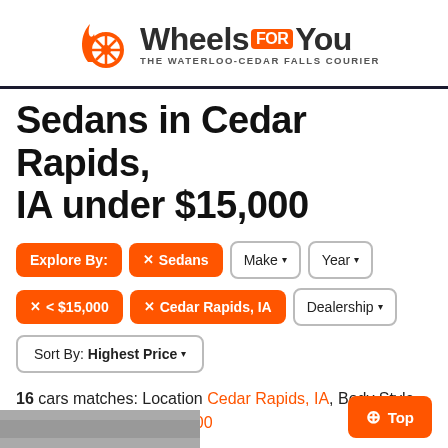[Figure (logo): WheelsForYou logo with orange flame and wheel icon, subtitle 'THE WATERLOO-CEDAR FALLS COURIER']
Sedans in Cedar Rapids, IA under $15,000
Explore By: × Sedans  Make ▾  Year ▾  × < $15,000  × Cedar Rapids, IA  Dealership ▾
Sort By: Highest Price ▾
16 cars matches: Location Cedar Rapids, IA, Body Style Sedans, Max Price $15,000